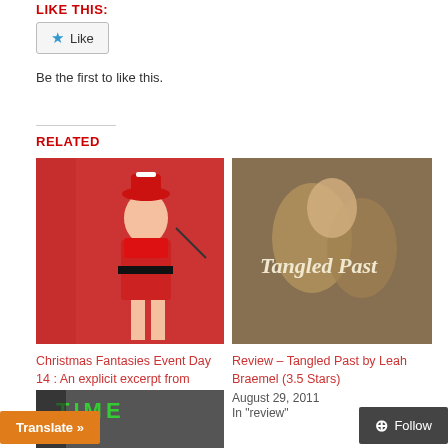LIKE THIS:
Like
Be the first to like this.
RELATED
[Figure (photo): Book cover image - Christmas themed with woman in red]
Christmas Fantasies Event Day 14 : An explicit excerpt from Kirsten McCurran
December 15, 2013
In "Christmas Events"
[Figure (photo): Book cover - Tangled Past by Leah Braemel with title text overlay]
Review – Tangled Past by Leah Braemel (3.5 Stars)
August 29, 2011
In "review"
[Figure (photo): Partial book cover image at bottom with green text]
Translate »
Follow